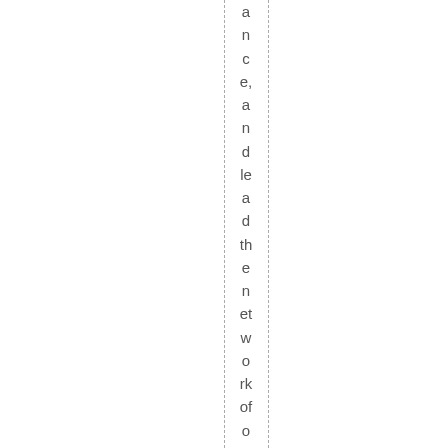ance, and lead the network of organizat